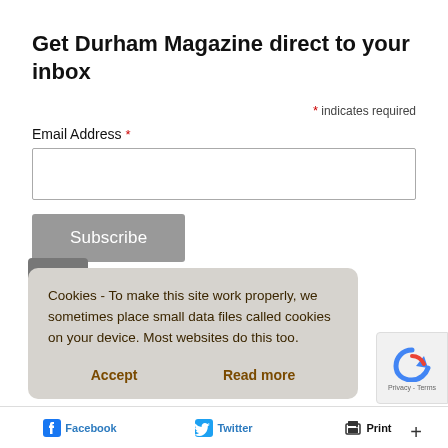Get Durham Magazine direct to your inbox
* indicates required
Email Address *
Subscribe
Cookies - To make this site work properly, we sometimes place small data files called cookies on your device. Most websites do this too.
Accept
Read more
Facebook
Twitter
Print